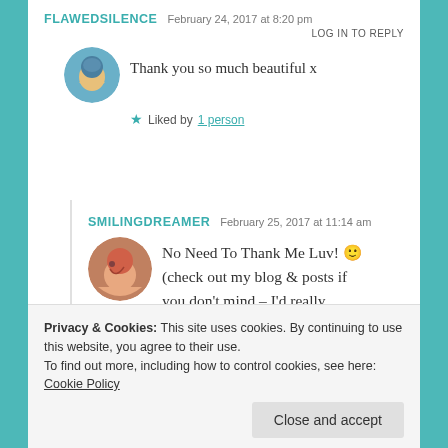FLAWEDSILENCE   February 24, 2017 at 8:20 pm
LOG IN TO REPLY
Thank you so much beautiful x
★ Liked by 1 person
SMILINGDREAMER   February 25, 2017 at 11:14 am
No Need To Thank Me Luv! 🙂 (check out my blog & posts if you don't mind – I'd really appreciate it!)
Privacy & Cookies: This site uses cookies. By continuing to use this website, you agree to their use.
To find out more, including how to control cookies, see here: Cookie Policy
Close and accept